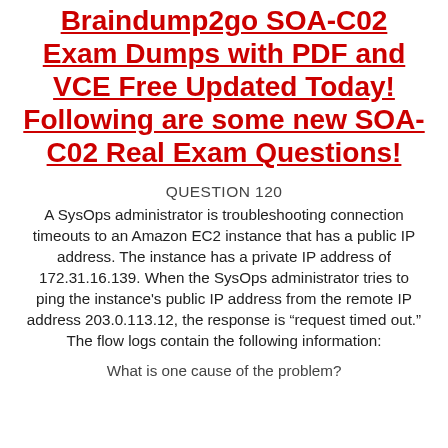Braindump2go SOA-C02 Exam Dumps with PDF and VCE Free Updated Today! Following are some new SOA-C02 Real Exam Questions!
QUESTION 120
A SysOps administrator is troubleshooting connection timeouts to an Amazon EC2 instance that has a public IP address. The instance has a private IP address of 172.31.16.139. When the SysOps administrator tries to ping the instance's public IP address from the remote IP address 203.0.113.12, the response is "request timed out." The flow logs contain the following information:
What is one cause of the problem?